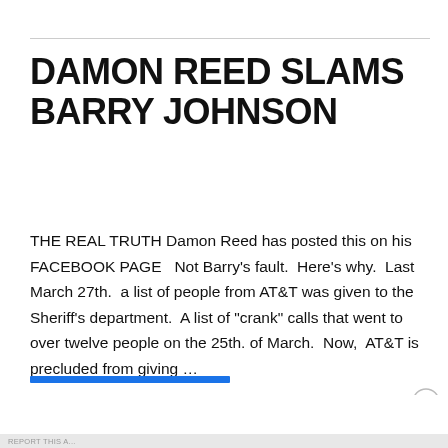DAMON REED SLAMS BARRY JOHNSON
THE REAL TRUTH Damon Reed has posted this on his FACEBOOK PAGE   Not Barry's fault.  Here's why.  Last March 27th.  a list of people from AT&T was given to the Sheriff's department.  A list of "crank" calls that went to over twelve people on the 25th. of March.  Now,  AT&T is precluded from giving …
[Figure (screenshot): Seamless food delivery advertisement banner with pizza image, seamless logo, and ORDER NOW button]